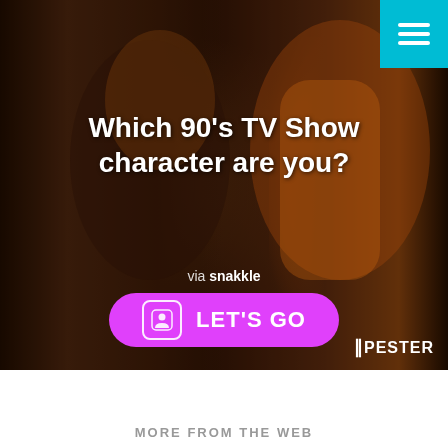[Figure (screenshot): Hero image with blurred background showing two people from a 90s TV show. A cyan hamburger menu button is in the top right. A large white bold title reads 'Which 90's TV Show character are you?'. Below is 'via snakkle' text and a magenta 'LET'S GO' button with a person icon. The Apester logo appears bottom right.]
Which 90's TV Show character are you?
via snakkle
LET'S GO
APESTER
MORE FROM THE WEB